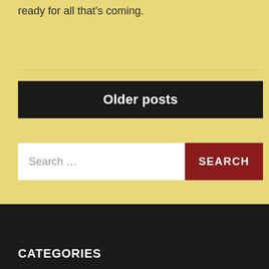ready for all that's coming.
Older posts
Search ...
SEARCH
CATEGORIES